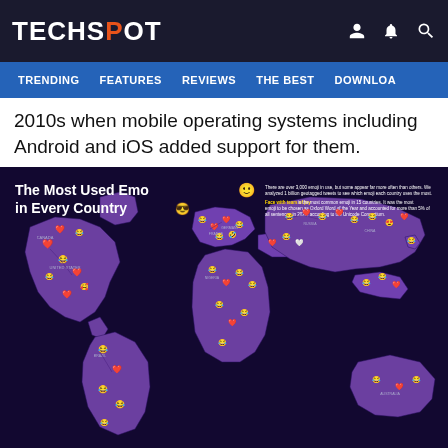TECHSPOT
TRENDING  FEATURES  REVIEWS  THE BEST  DOWNLOA
2010s when mobile operating systems including Android and iOS added support for them.
[Figure (map): Infographic map titled 'The Most Used Emoji in Every Country' showing a world map with emoji icons placed over countries indicating the most used emoji in each country. The map has a dark purple/navy background with purple landmasses. Countries are labeled with their most popular emoji (mostly heart, face with tears of joy, and other emoji icons). A legend/explanation text is in the top right of the infographic.]